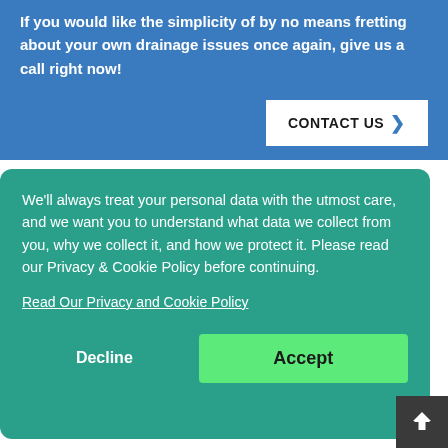If you would like the simplicity of by no means fretting about your own drainage issues once again, give us a call right now!
CONTACT US >
We'll always treat your personal data with the utmost care, and we want you to understand what data we collect from you, why we collect it, and how we protect it. Please read our Privacy & Cookie Policy before continuing.
Read Our Privacy and Cookie Policy
Decline
Accept